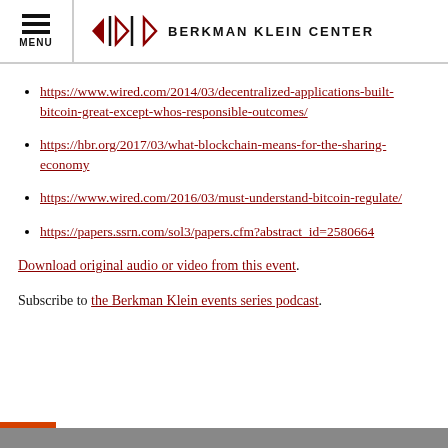MENU | Berkman Klein Center
https://www.wired.com/2014/03/decentralized-applications-built-bitcoin-great-except-whos-responsible-outcomes/
https://hbr.org/2017/03/what-blockchain-means-for-the-sharing-economy
https://www.wired.com/2016/03/must-understand-bitcoin-regulate/
https://papers.ssrn.com/sol3/papers.cfm?abstract_id=2580664
Download original audio or video from this event.
Subscribe to the Berkman Klein events series podcast.